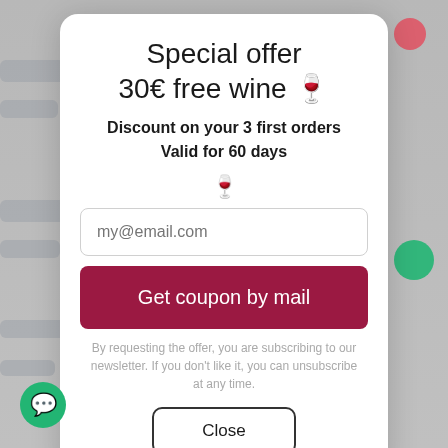Special offer
30€ free wine 🍷
Discount on your 3 first orders
Valid for 60 days
[Figure (illustration): Wine glass icon]
my@email.com (email input placeholder)
Get coupon by mail
By requesting the offer, you are subscribing to our newsletter. If you don't like it, you can unsubscribe at any time.
Close